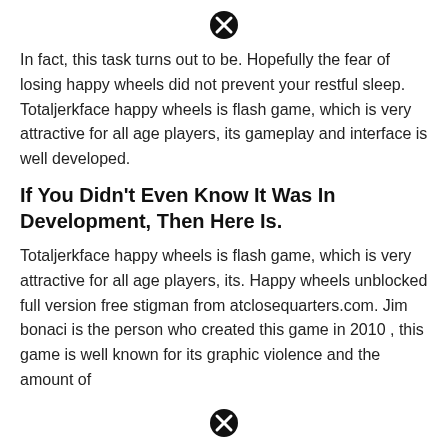[Figure (other): Close/cancel button icon (circle with X) at top center]
In fact, this task turns out to be. Hopefully the fear of losing happy wheels did not prevent your restful sleep. Totaljerkface happy wheels is flash game, which is very attractive for all age players, its gameplay and interface is well developed.
If You Didn't Even Know It Was In Development, Then Here Is.
Totaljerkface happy wheels is flash game, which is very attractive for all age players, its. Happy wheels unblocked full version free stigman from atclosequarters.com. Jim bonaci is the person who created this game in 2010 , this game is well known for its graphic violence and the amount of
[Figure (other): Close/cancel button icon (circle with X) at bottom center]